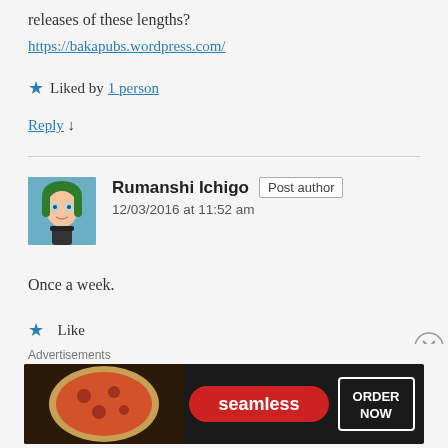releases of these lengths?
https://bakapubs.wordpress.com/
Liked by 1 person
Reply ↓
[Figure (illustration): Avatar of Rumanshi Ichigo: anime-style character with green hair]
Rumanshi Ichigo  Post author
12/03/2016 at 11:52 am
Once a week.
Like
Advertisements
[Figure (screenshot): Seamless food delivery advertisement banner: pizza image on dark background, Seamless logo in red, ORDER NOW button in white box]